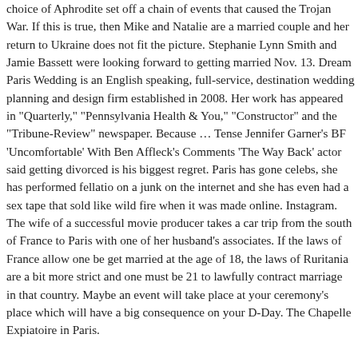choice of Aphrodite set off a chain of events that caused the Trojan War. If this is true, then Mike and Natalie are a married couple and her return to Ukraine does not fit the picture. Stephanie Lynn Smith and Jamie Bassett were looking forward to getting married Nov. 13. Dream Paris Wedding is an English speaking, full-service, destination wedding planning and design firm established in 2008. Her work has appeared in "Quarterly," "Pennsylvania Health & You," "Constructor" and the "Tribune-Review" newspaper. Because … Tense Jennifer Garner's BF 'Uncomfortable' With Ben Affleck's Comments 'The Way Back' actor said getting divorced is his biggest regret. Paris has gone celebs, she has performed fellatio on a junk on the internet and she has even had a sex tape that sold like wild fire when it was made online. Instagram. The wife of a successful movie producer takes a car trip from the south of France to Paris with one of her husband's associates. If the laws of France allow one be get married at the age of 18, the laws of Ruritania are a bit more strict and one must be 21 to lawfully contract marriage in that country. Maybe an event will take place at your ceremony's place which will have a big consequence on your D-Day. The Chapelle Expiatoire in Paris.